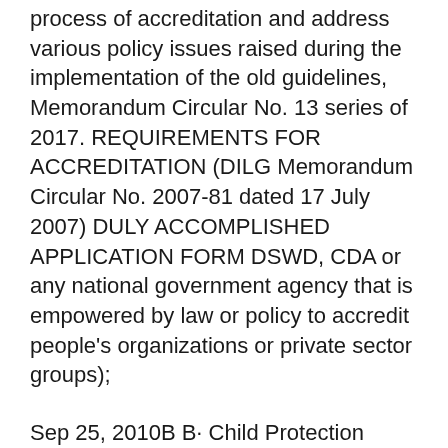process of accreditation and address various policy issues raised during the implementation of the old guidelines, Memorandum Circular No. 13 series of 2017. REQUIREMENTS FOR ACCREDITATION (DILG Memorandum Circular No. 2007-81 dated 17 July 2007) DULY ACCOMPLISHED APPLICATION FORM DSWD, CDA or any national government agency that is empowered by law or policy to accredit people's organizations or private sector groups);
Sep 25, 2010B B· Child Protection Policy - DSWD ABSNET - authorSTREAM Presentation. Child Protection issues to be considered : Child Protection issues